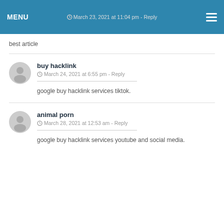MENU · March 23, 2021 at 11:04 pm - Reply
best article
buy hacklink
March 24, 2021 at 6:55 pm - Reply
google buy hacklink services tiktok.
animal porn
March 28, 2021 at 12:53 am - Reply
google buy hacklink services youtube and social media.